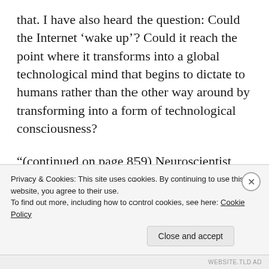that. I have also heard the question: Could the Internet ‘wake up’? Could it reach the point where it transforms into a global technological mind that begins to dictate to humans rather than the other way around by transforming into a form of technological consciousness?
“(continued on page 859) Neuroscientist Christof Koch says that the complexity of the World Wide Web may have already surpassed that of the human brain. He writes in his
Privacy & Cookies: This site uses cookies. By continuing to use this website, you agree to their use.
To find out more, including how to control cookies, see here: Cookie Policy
Close and accept